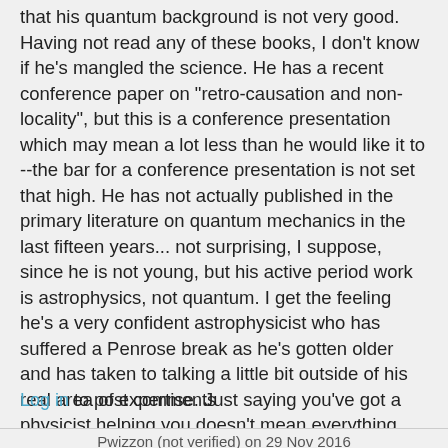that his quantum background is not very good. Having not read any of these books, I don't know if he's mangled the science. He has a recent conference paper on "retro-causation and non-locality", but this is a conference presentation which may mean a lot less than he would like it to --the bar for a conference presentation is not set that high. He has not actually published in the primary literature on quantum mechanics in the last fifteen years... not surprising, I suppose, since he is not young, but his active period work is astrophysics, not quantum. I get the feeling he's a very confident astrophysicist who has suffered a Penrose break as he's gotten older and has taken to talking a little bit outside of his real area of expertise. Just saying you've got a physicist helping you doesn't mean everything, Deepak: that's an argument by authority and it depends on the quality of the authority.
Log in to post comments
Pwizzon (not verified) on 29 Nov 2016